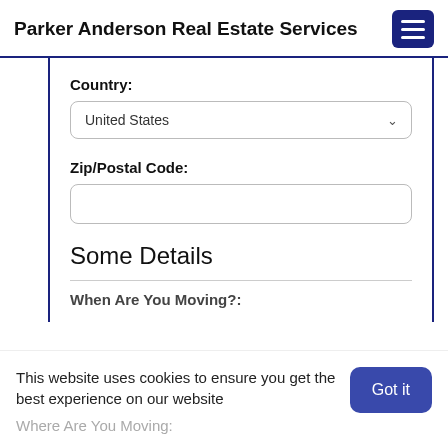Parker Anderson Real Estate Services
Country:
United States
Zip/Postal Code:
Some Details
When Are You Moving?:
This website uses cookies to ensure you get the best experience on our website
Where Are You Moving:
Got it